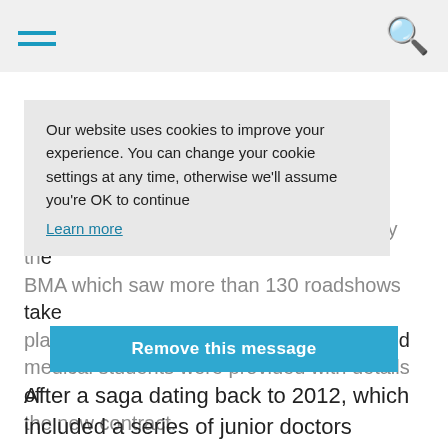Navigation bar with hamburger menu and search icon
but 58 percent of the 68 percent turnout voted against it
The decision came despite a campaign by the BMA which saw more than 130 roadshows take place across England, at which doctors and medical students were provided with details of the new contract.
Our website uses cookies to improve your experience. You can change your cookie settings at any time, otherwise we'll assume you're OK to continue
Learn more
Remove this message
After a saga dating back to 2012, which included a series of junior doctors strikes, the ultimate deal on the table agreed on by the government and the BMA included more attractive terms relating to unsociable hours with a new weekend working allowance and more